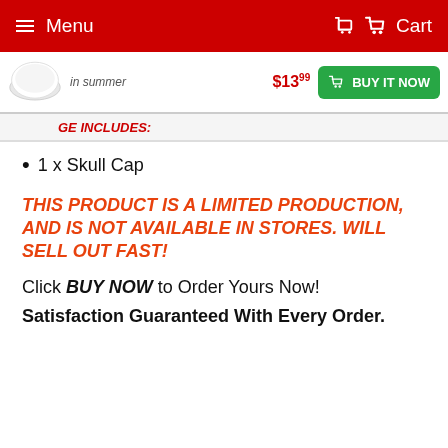Menu  Cart
[Figure (screenshot): Sticky product bar with skull cap thumbnail, 'in summer' text, $13.99 price, and green BUY IT NOW button]
GE INCLUDES:
1 x Skull Cap
THIS PRODUCT IS A LIMITED PRODUCTION, AND IS NOT AVAILABLE IN STORES. WILL SELL OUT FAST!
Click BUY NOW to Order Yours Now!
Satisfaction Guaranteed With Every Order.